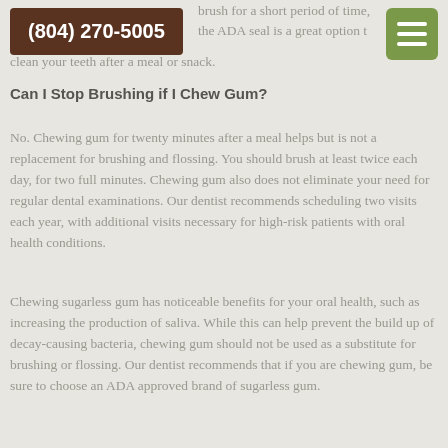(804) 270-5005
brush for a short period of time, the ADA seal is a great option to clean your teeth after a meal or snack.
Can I Stop Brushing if I Chew Gum?
No. Chewing gum for twenty minutes after a meal helps but is not a replacement for brushing and flossing. You should brush at least twice each day, for two full minutes. Chewing gum also does not eliminate your need for regular dental examinations. Our dentist recommends scheduling two visits each year, with additional visits necessary for high-risk patients with oral health conditions.
Chewing sugarless gum has noticeable benefits for your oral health, such as increasing the production of saliva. While this can help prevent the build up of decay-causing bacteria, chewing gum should not be used as a substitute for brushing or flossing. Our dentist recommends that if you are chewing gum, be sure to choose an ADA approved brand of sugarless gum.